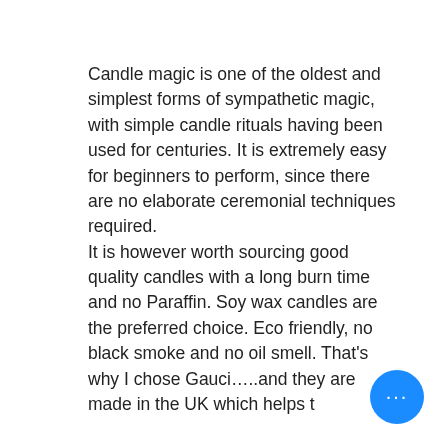Candle magic is one of the oldest and simplest forms of sympathetic magic, with simple candle rituals having been used for centuries. It is extremely easy for beginners to perform, since there are no elaborate ceremonial techniques required.
It is however worth sourcing good quality candles with a long burn time and no Paraffin. Soy wax candles are the preferred choice. Eco friendly, no black smoke and no oil smell. That's why I chose Gauci…..and they are made in the UK which helps t